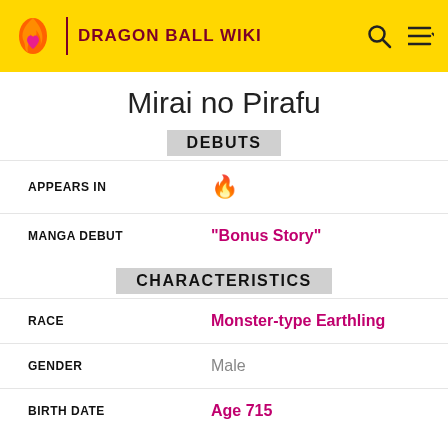DRAGON BALL WIKI
Mirai no Pirafu
DEBUTS
| Field | Value |
| --- | --- |
| APPEARS IN | 🔥 (manga icon) |
| MANGA DEBUT | "Bonus Story" |
CHARACTERISTICS
| Field | Value |
| --- | --- |
| RACE | Monster-type Earthling |
| GENDER | Male |
| BIRTH DATE | Age 715 |